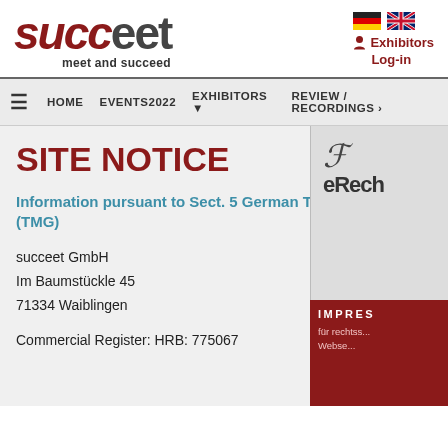[Figure (logo): succeet logo with tagline 'meet and succeed']
[Figure (infographic): German and UK flag icons for language selection, with Exhibitors Log-in link]
HOME  EVENTS2022  EXHIBITORS ▾  REVIEW / RECORDINGS ›
SITE NOTICE
Information pursuant to Sect. 5 German Telemedia Act (TMG)
succeet GmbH
Im Baumstückle 45
71334 Waiblingen
Commercial Register: HRB: 775067
[Figure (illustration): eRecht badge showing cursive logo and IMPRESSUM red panel with text 'für rechtss... Webse...']